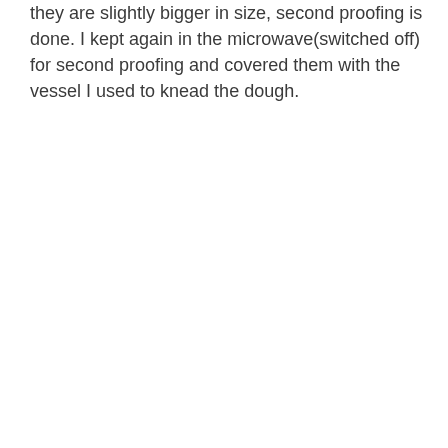they are slightly bigger in size, second proofing is done. I kept again in the microwave(switched off) for second proofing and covered them with the vessel I used to knead the dough.